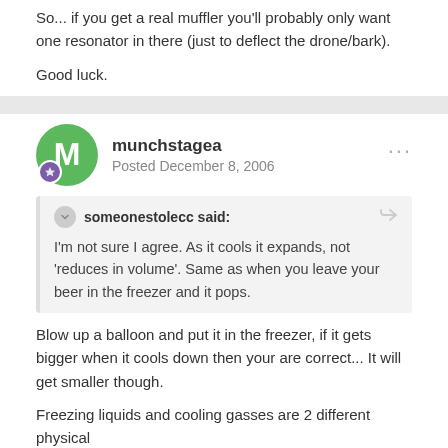So... if you get a real muffler you'll probably only want one resonator in there (just to deflect the drone/bark).
Good luck.
munchstagea
Posted December 8, 2006
someonestolecc said:
I'm not sure I agree. As it cools it expands, not 'reduces in volume'. Same as when you leave your beer in the freezer and it pops.
Blow up a balloon and put it in the freezer, if it gets bigger when it cools down then your are correct... It will get smaller though.
Freezing liquids and cooling gasses are 2 different physical